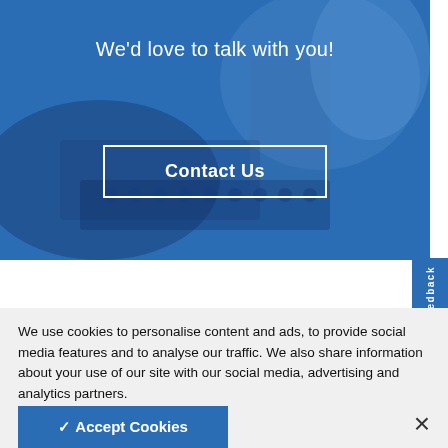[Figure (photo): Blue-tinted laboratory photo showing gloved hands working with test tubes and lab equipment, overlaid with a semi-transparent blue color wash]
We'd love to talk with you!
Contact Us
Leading the Way in Smarter
We use cookies to personalise content and ads, to provide social media features and to analyse our traffic. We also share information about your use of our site with our social media, advertising and analytics partners. Manage Cookie Settings
✓ Accept Cookies
×